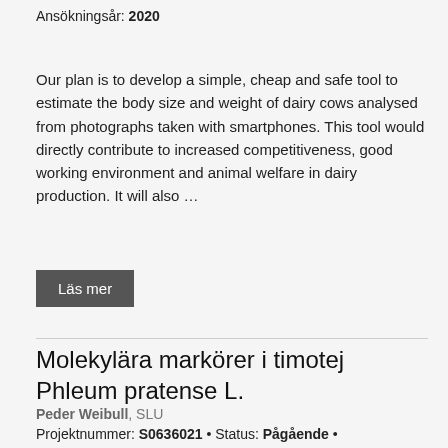Ansökningsår: 2020
Our plan is to develop a simple, cheap and safe tool to estimate the body size and weight of dairy cows analysed from photographs taken with smartphones. This tool would directly contribute to increased competitiveness, good working environment and animal welfare in dairy production. It will also …
Läs mer
Molekylära markörer i timotej Phleum pratense L.
Peder Weibull, SLU
Projektnummer: S0636021 • Status: Pågående • Ansökningsår: 2006